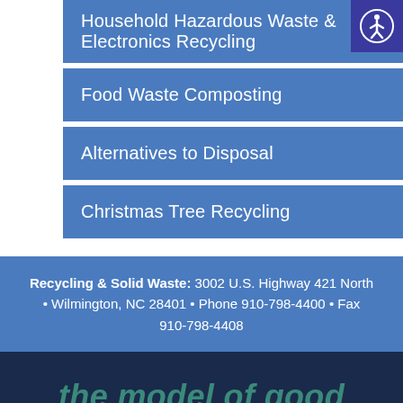Household Hazardous Waste & Electronics Recycling
Food Waste Composting
Alternatives to Disposal
Christmas Tree Recycling
Recycling & Solid Waste: 3002 U.S. Highway 421 North • Wilmington, NC 28401 • Phone 910-798-4400 • Fax 910-798-4408
the model of good